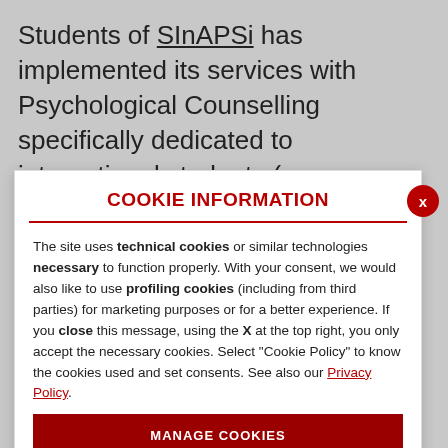Students of SInAPSi has implemented its services with Psychological Counselling specifically dedicated to international students (e.g. erasmus, exchange,
COOKIE INFORMATION
The site uses technical cookies or similar technologies necessary to function properly. With your consent, we would also like to use profiling cookies (including from third parties) for marketing purposes or for a better experience. If you close this message, using the X at the top right, you only accept the necessary cookies. Select "Cookie Policy" to know the cookies used and set consents. See also our Privacy Policy.
MANAGE COOKIES
ACCEPT ONLY NECESSARY
ACCEPT ALL